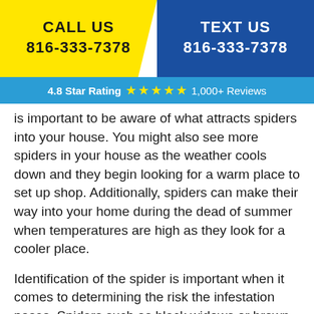CALL US 816-333-7378 | TEXT US 816-333-7378
4.8 Star Rating ★★★★★ 1,000+ Reviews
is important to be aware of what attracts spiders into your house. You might also see more spiders in your house as the weather cools down and they begin looking for a warm place to set up shop. Additionally, spiders can make their way into your home during the dead of summer when temperatures are high as they look for a cooler place.
Identification of the spider is important when it comes to determining the risk the infestation poses. Spiders such as black widows or brown recluses are highly